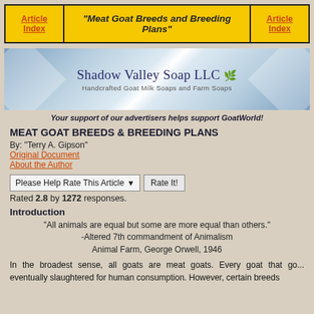Article Index | "Meat Goat Breeds and Breeding Plans" | Article Index
[Figure (illustration): Shadow Valley Soap LLC banner — Handcrafted Goat Milk Soaps and Farm Soaps logo with blue diamond shapes]
Your support of our advertisers helps support GoatWorld!
MEAT GOAT BREEDS & BREEDING PLANS
By: "Terry A. Gipson"
Original Document
About the Author
Please Help Rate This Article   Rate It!
Rated 2.8 by 1272 responses.
Introduction
"All animals are equal but some are more equal than others."
-Altered 7th commandment of Animalism
Animal Farm, George Orwell, 1946
In the broadest sense, all goats are meat goats. Every goat that go... eventually slaughtered for human consumption. However, certain breeds